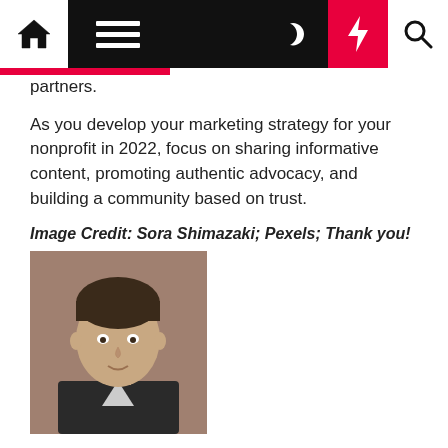Navigation bar with home, menu, moon, lightning, and search icons
partners.
As you develop your marketing strategy for your nonprofit in 2022, focus on sharing informative content, promoting authentic advocacy, and building a community based on trust.
Image Credit: Sora Shimazaki; Pexels; Thank you!
[Figure (photo): Headshot of David Townsend, a man with dark hair wearing a suit]
David Townsend
David is an advertising and marketing consultant who has worked with major brands across the country. He currently writes daily and takes guitar